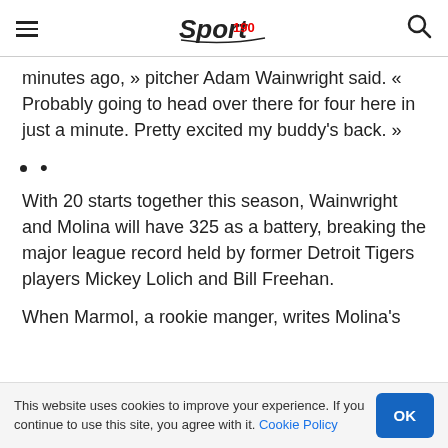Sport 190
minutes ago, » pitcher Adam Wainwright said. « Probably going to head over there for four here in just a minute. Pretty excited my buddy's back. »
•
With 20 starts together this season, Wainwright and Molina will have 325 as a battery, breaking the major league record held by former Detroit Tigers players Mickey Lolich and Bill Freehan.
When Marmol, a rookie manger, writes Molina's
This website uses cookies to improve your experience. If you continue to use this site, you agree with it. Cookie Policy